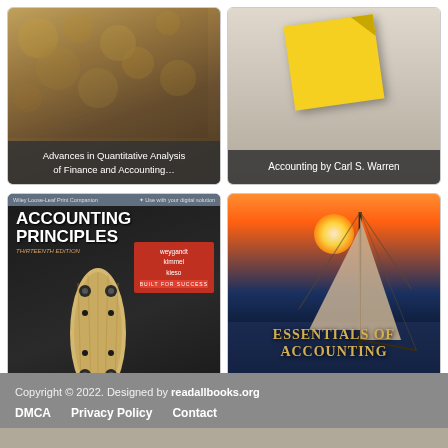[Figure (photo): Book cover: Advances in Quantitative Analysis of Finance and Accounting, with caption overlay]
Advances in Quantitative Analysis of Finance and Accounting…
[Figure (photo): Book cover: Accounting by Carl S. Warren, with yellow sticky note image and caption overlay]
Accounting by Carl S. Warren
[Figure (photo): Book cover: Accounting Principles 13th Edition by Weygandt, Kimmel, Kieso (Wiley Loose-Leaf), skateboard image]
Accounting Principles, 13e
[Figure (photo): Book cover: Essentials of Accounting 11th Edition by Robert N. Anthony, sailing boat at sunset]
Essentials of Accounting 11th Edition
Copyright © 2022. Designed by readallbooks.org
DMCA   Privacy Policy   Contact